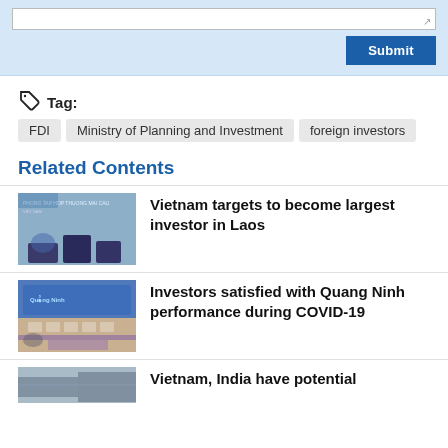[Figure (screenshot): Light blue area with a white text input box and a blue Submit button in the bottom right corner.]
Tag: FDI  Ministry of Planning and Investment  foreign investors
Related Contents
[Figure (photo): Group of people sitting in a conference setting with a banner in the background. Vietnam trade-related event.]
Vietnam targets to become largest investor in Laos
[Figure (photo): Conference room with attendees seated at long tables with a green/blue stage screen visible.]
Investors satisfied with Quang Ninh performance during COVID-19
[Figure (photo): Partial photo, appears to be an industrial or infrastructure setting.]
Vietnam, India have potential